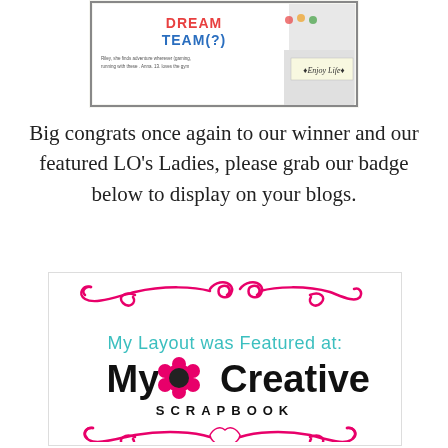[Figure (illustration): Scrapbook layout image with 'Dream Team' text and 'Enjoy Life' banner, decorative elements]
Big congrats once again to our winner and our featured LO's Ladies, please grab our badge below to display on your blogs.
[Figure (logo): My Creative Scrapbook badge with decorative pink scrollwork flourishes top and bottom, teal text 'My Layout was Featured at:', bold black text 'My Creative Scrapbook' with pink flower embellishment]